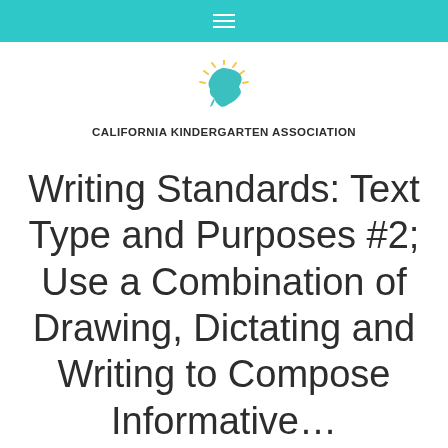[Figure (logo): California Kindergarten Association logo: California state shape in teal/blue with yellow sun rays, above bold text CALIFORNIA KINDERGARTEN ASSOCIATION]
Writing Standards: Text Type and Purposes #2; Use a Combination of Drawing, Dictating and Writing to Compose Informative…